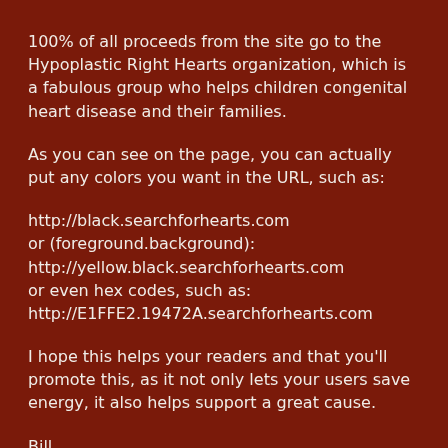100% of all proceeds from the site go to the Hypoplastic Right Hearts organization, which is a fabulous group who helps children congenital heart disease and their families.
As you can see on the page, you can actually put any colors you want in the URL, such as:
http://black.searchforhearts.com
or (foreground.background):
http://yellow.black.searchforhearts.com
or even hex codes, such as:
http://E1FFE2.19472A.searchforhearts.com
I hope this helps your readers and that you'll promote this, as it not only lets your users save energy, it also helps support a great cause.
Bill
7:00 PM